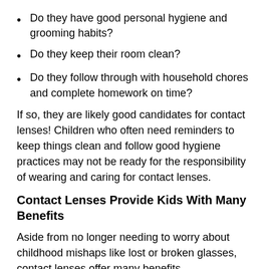Do they have good personal hygiene and grooming habits?
Do they keep their room clean?
Do they follow through with household chores and complete homework on time?
If so, they are likely good candidates for contact lenses! Children who often need reminders to keep things clean and follow good hygiene practices may not be ready for the responsibility of wearing and caring for contact lenses.
Contact Lenses Provide Kids With Many Benefits
Aside from no longer needing to worry about childhood mishaps like lost or broken glasses, contact lenses offer many benefits.
They offer better...